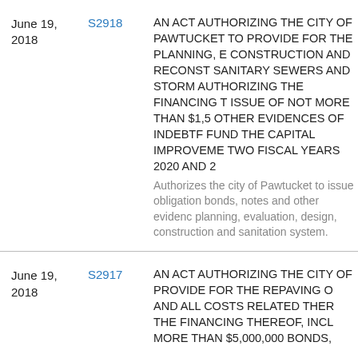| Date | Bill | Description |
| --- | --- | --- |
| June 19, 2018 | S2918 | AN ACT AUTHORIZING THE CITY OF PAWTUCKET TO PROVIDE FOR THE PLANNING, EVALUATION, DESIGN, CONSTRUCTION AND RECONSTRUCTION OF SANITARY SEWERS AND STORM DRAINS; AND AUTHORIZING THE FINANCING THEREOF, INCLUDING THE ISSUE OF NOT MORE THAN $1,500,000 BONDS, NOTES, OR OTHER EVIDENCES OF INDEBTEDNESS, THEREOF TO FUND THE CAPITAL IMPROVEMENTS INCLUDED IN THE TWO FISCAL YEARS 2020 AND 2021 CAPITAL BUDGET
Authorizes the city of Pawtucket to issue not more than $1,500,000 in general obligation bonds, notes and other evidences of indebtedness to provide for the planning, evaluation, design, construction and reconstruction of sanitary sewers and sanitation system. |
| June 19, 2018 | S2917 | AN ACT AUTHORIZING THE CITY OF PAWTUCKET TO PROVIDE FOR THE REPAVING OF CITY STREETS AND ALL COSTS RELATED THERETO; AUTHORIZING THE FINANCING THEREOF, INCLUDING THE ISSUE OF NOT MORE THAN $5,000,000 BONDS, NOTES OR OTHER |